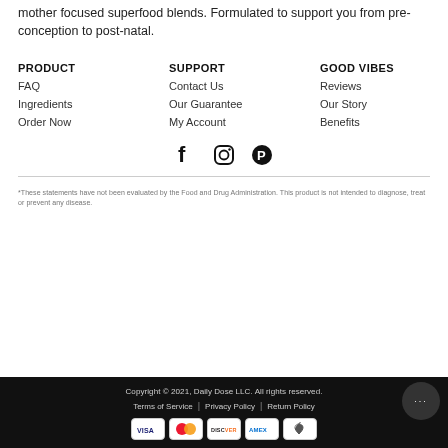mother focused superfood blends. Formulated to support you from pre-conception to post-natal.
PRODUCT
FAQ
Ingredients
Order Now
SUPPORT
Contact Us
Our Guarantee
My Account
GOOD VIBES
Reviews
Our Story
Benefits
[Figure (illustration): Social media icons: Facebook, Instagram, Pinterest]
*These statements have not been evaluated by the Food and Drug Administration. This product is not intended to diagnose, treat or prevent any disease.
Copyright © 2021, Daily Dose LLC. All rights reserved. | Terms of Service | Privacy Policy | Return Policy
[Figure (illustration): Payment method icons: VISA, Mastercard, Discover, AMEX, Apple Pay]